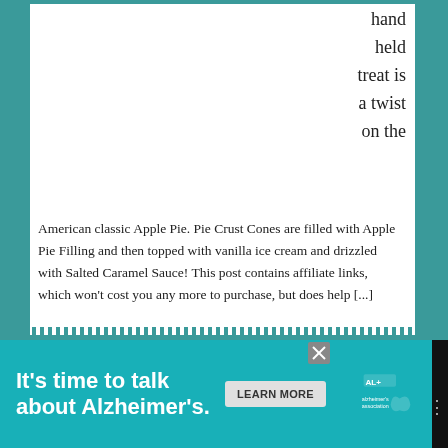hand held treat is a twist on the
American classic Apple Pie. Pie Crust Cones are filled with Apple Pie Filling and then topped with vanilla ice cream and drizzled with Salted Caramel Sauce! This post contains affiliate links, which won't cost you any more to purchase, but does help [...]
Filed Under: Desserts, Pies
Tagged With: Apple Pie, store bought crust, Thanksgiving
[Figure (infographic): Advertisement banner for Alzheimer's Association: 'It's time to talk about Alzheimer's.' with a Learn More button and Alzheimer's Association logo]